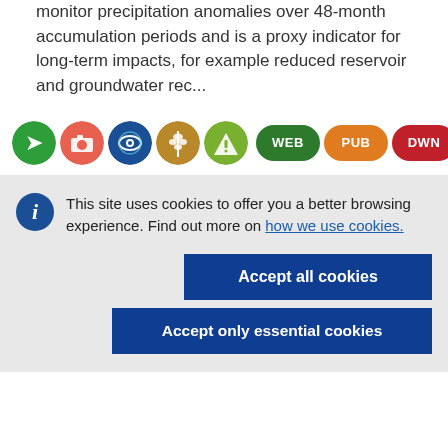monitor precipitation anomalies over 48-month accumulation periods and is a proxy indicator for long-term impacts, for example reduced reservoir and groundwater rec...
[Figure (infographic): Row of colored circular and pill-shaped icons: green arrow icon, red camera icon, blue eye/globe icon, brown wheat icon, green mountain/alert icon, then pill badges labeled WEB (dark green), PUB (orange), DWN (red), GEO (grey)]
This site uses cookies to offer you a better browsing experience. Find out more on how we use cookies.
Accept all cookies
Accept only essential cookies